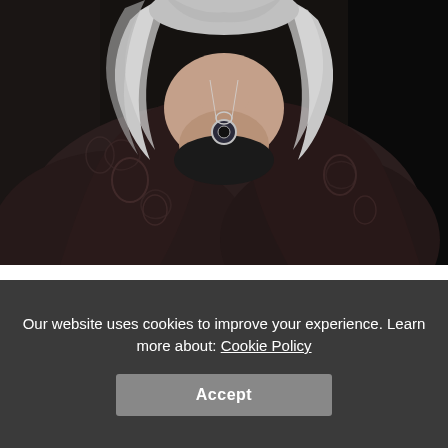[Figure (photo): Close-up photo of a woman with long silver/white hair wearing a dark embroidered velvet jacket and a decorative necklace, against a dark background.]
30.
[Figure (photo): Partial photo showing the top of a person's head with light blonde/white hair against a light background, partially visible at bottom.]
Our website uses cookies to improve your experience. Learn more about: Cookie Policy
Accept